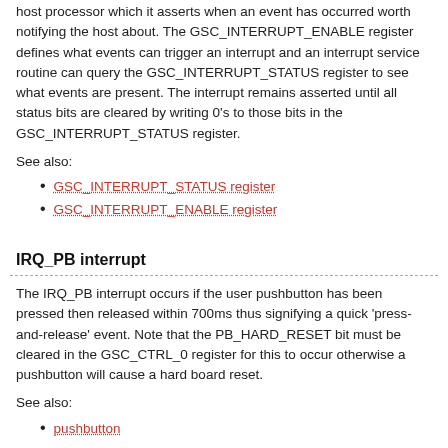host processor which it asserts when an event has occurred worth notifying the host about. The GSC_INTERRUPT_ENABLE register defines what events can trigger an interrupt and an interrupt service routine can query the GSC_INTERRUPT_STATUS register to see what events are present. The interrupt remains asserted until all status bits are cleared by writing 0's to those bits in the GSC_INTERRUPT_STATUS register.
See also:
GSC_INTERRUPT_STATUS register
GSC_INTERRUPT_ENABLE register
IRQ_PB interrupt
The IRQ_PB interrupt occurs if the user pushbutton has been pressed then released within 700ms thus signifying a quick 'press-and-release' event. Note that the PB_HARD_RESET bit must be cleared in the GSC_CTRL_0 register for this to occur otherwise a pushbutton will cause a hard board reset.
See also:
pushbutton
IRQ_SWITCH_HOLD interrupt